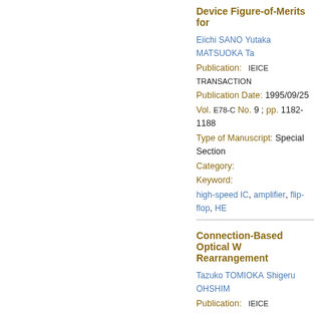Device Figure-of-Merits for ...
Eiichi SANO  Yutaka MATSUOKA  Ta...
Publication:   IEICE TRANSACTION...
Publication Date:  1995/09/25
Vol. E78-C  No. 9 ; pp. 1182-1188
Type of Manuscript:  Special Section...
Category:
Keyword:
high-speed IC,  amplifier,  flip-flop,  HE...
Connection-Based Optical W... Rearrangement
Tazuko TOMIOKA  Shigeru OHSHIM...
Publication:   IEICE TRANSACTION...
Publication Date:  1995/09/25
Vol. E78-B  No. 9 ; pp. 1295-1300
Type of Manuscript:  PAPER
Category:  Optical Communication
Keyword:
optical communication,  wavelength di...
How Small Can Intermedia...